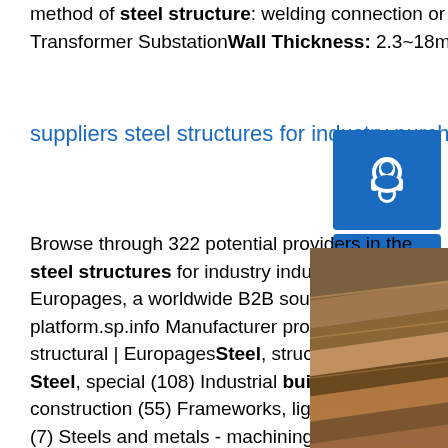method of steel structure: welding connection or bolt connection. Applications: Electrical Power Transformer SubstationWall Thickness: 2.3~18mm
suppliers steel structures for industry purchase quote ...
Browse through 322 potential providers in the steel structures for industry industry on Europages, a worldwide B2B sourcing platform.sp.info Manufacturer producer steel, structural | EuropagesSteel, structural (215) Steel, special (108) Industrial building construction (55) Frameworks, lightweight - metal (7) Steels and metals - machining (30)sp.info suppliers structural steel purchase quote | EuropagesSteel, structural (612) Steel, special (396) Industrial building construction (71) Frameworks,
[Figure (photo): Photo of stacked steel structural angle/channel bars, brown/rust colored metal pieces stacked together]